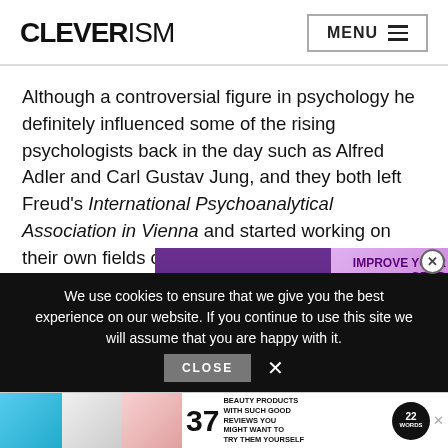CLEVERISM  MENU
Although a controversial figure in psychology he definitely influenced some of the rising psychologists back in the day such as Alfred Adler and Carl Gustav Jung, and they both left Freud’s International Psychoanalytical Association in Vienna and started working on their own fields of study.
[Figure (screenshot): Overlapping ad banners: one showing purple-background article thumbnail with text '37 GENIUS AMA THAT CAN BE US', another showing a woman with text 'IMPROVE YOUR GRAD SCHOOL APP' on purple background]
We use cookies to ensure that we give you the best experience on our website. If you continue to use this site we will assume that you are happy with it.
[Figure (screenshot): Bottom advertisement banner showing beauty products with text '37 BEAUTY PRODUCTS WITH SUCH GOOD REVIEWS YOU MIGHT WANT TO TRY THEM YOURSELF' with 22 Words badge]